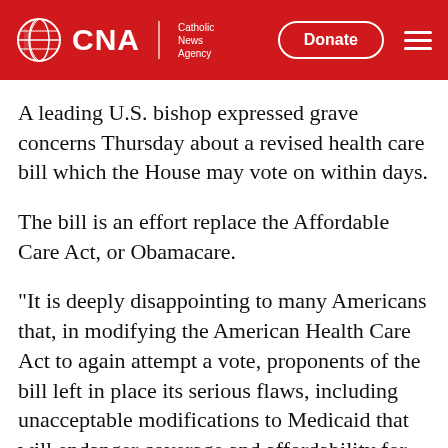CNA | Catholic News Agency
A leading U.S. bishop expressed grave concerns Thursday about a revised health care bill which the House may vote on within days.
The bill is an effort replace the Affordable Care Act, or Obamacare.
"It is deeply disappointing to many Americans that, in modifying the American Health Care Act to again attempt a vote, proponents of the bill left in place its serious flaws, including unacceptable modifications to Medicaid that will endanger coverage and affordability for millions of people, according to reports," Bishop Frank Dewane of Venice, chair of the U.S. bishops